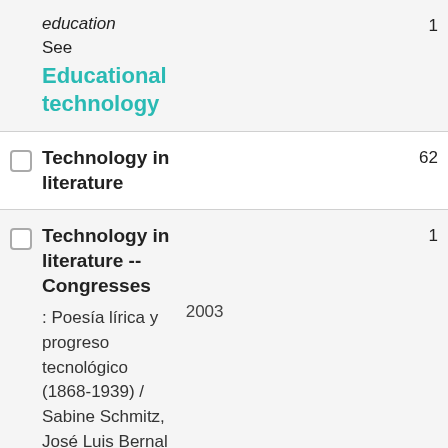education
See Educational technology
Technology in literature
Technology in literature -- Congresses : Poesía lírica y progreso tecnológico (1868-1939) / Sabine Schmitz, José Luis Bernal Salgado,